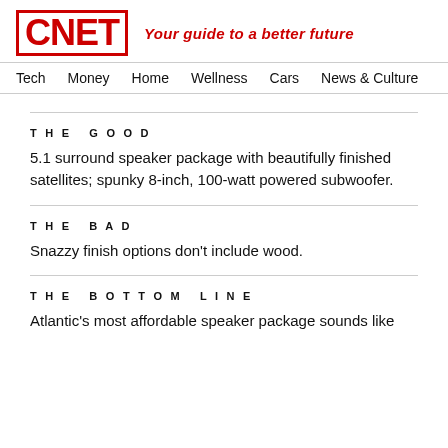CNET — Your guide to a better future
Tech   Money   Home   Wellness   Cars   News & Culture
THE GOOD
5.1 surround speaker package with beautifully finished satellites; spunky 8-inch, 100-watt powered subwoofer.
THE BAD
Snazzy finish options don't include wood.
THE BOTTOM LINE
Atlantic's most affordable speaker package sounds like